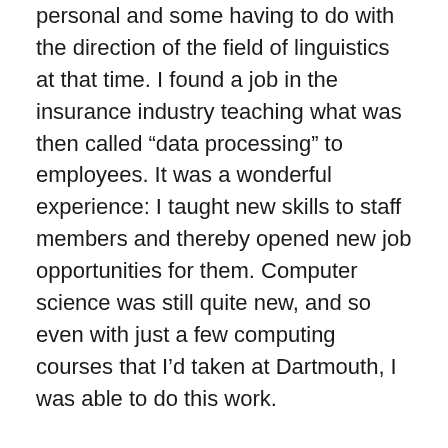personal and some having to do with the direction of the field of linguistics at that time. I found a job in the insurance industry teaching what was then called “data processing” to employees. It was a wonderful experience: I taught new skills to staff members and thereby opened new job opportunities for them. Computer science was still quite new, and so even with just a few computing courses that I’d taken at Dartmouth, I was able to do this work.
But after a few years, my interest in becoming a researcher resurfaced, and I decided to go back to school. A friend of mine was working on his doctorate in computer science, and he told me about the field of natural-language processing, where I could continue